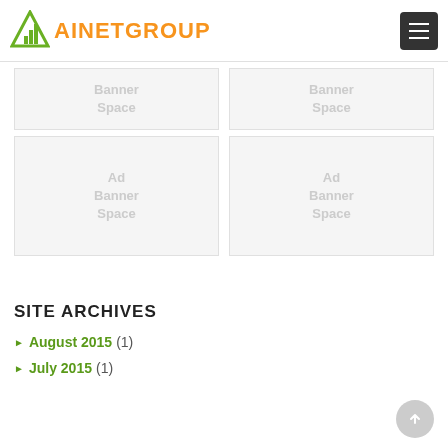AINETGROUP
[Figure (other): Ad Banner Space placeholder box (top left, partially visible)]
[Figure (other): Ad Banner Space placeholder box (top right, partially visible)]
[Figure (other): Ad Banner Space placeholder box (bottom left, full)]
[Figure (other): Ad Banner Space placeholder box (bottom right, full)]
SITE ARCHIVES
August 2015 (1)
July 2015 (1)